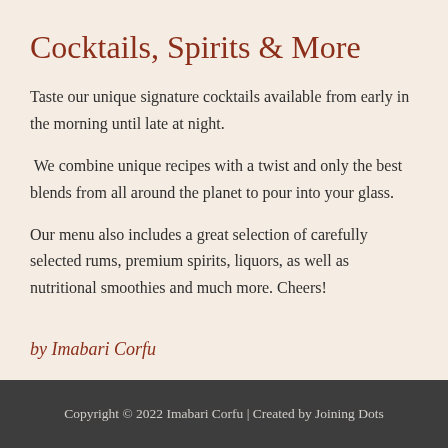Cocktails, Spirits & More
Taste our unique signature cocktails available from early in the morning until late at night.
We combine unique recipes with a twist and only the best blends from all around the planet to pour into your glass.
Our menu also includes a great selection of carefully selected rums, premium spirits, liquors, as well as nutritional smoothies and much more. Cheers!
by Imabari Corfu
Copyright © 2022 Imabari Corfu | Created by Joining Dots